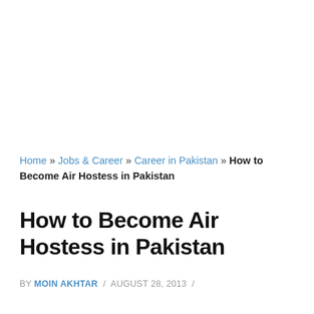Home » Jobs & Career » Career in Pakistan » How to Become Air Hostess in Pakistan
How to Become Air Hostess in Pakistan
BY MOIN AKHTAR / AUGUST 28, 2013 /